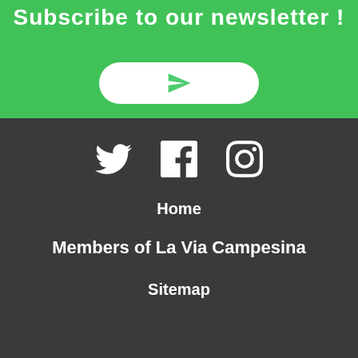Subscribe to our newsletter !
[Figure (illustration): White rounded rectangle button with a green paper airplane / send icon in the center, on a green background with hands image underneath]
[Figure (illustration): Social media icons row: Twitter bird icon, Facebook f icon, Instagram camera icon, all white on dark gray background]
Home
Members of La Via Campesina
Sitemap